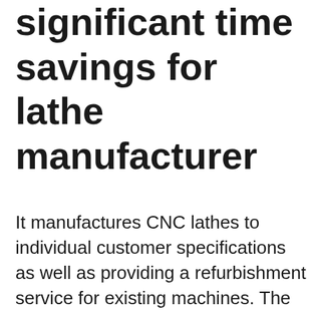significant time savings for lathe manufacturer
It manufactures CNC lathes to individual customer specifications as well as providing a refurbishment service for existing machines. The company is renowned for its large, rigid machines, supplied with axis